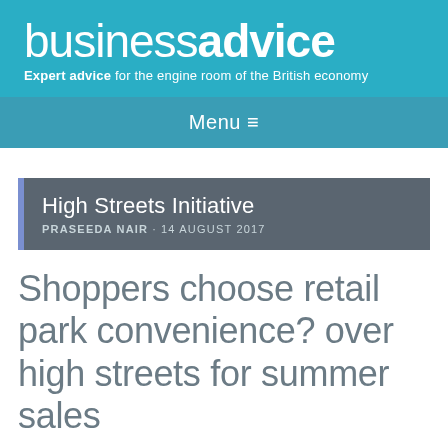businessadvice — Expert advice for the engine room of the British economy
Menu ≡
High Streets Initiative — PRASEEDA NAIR · 14 AUGUST 2017
Shoppers choose retail park convenience? over high streets for summer sales